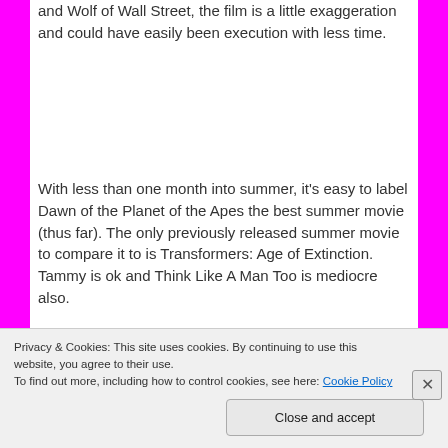and Wolf of Wall Street, the film is a little exaggeration and could have easily been execution with less time.
With less than one month into summer, it's easy to label Dawn of the Planet of the Apes the best summer movie (thus far). The only previously released summer movie to compare it to is Transformers: Age of Extinction. Tammy is ok and Think Like A Man Too is mediocre also.
Real movie lovers know that The Purge: Anarchy, Scarlett Johannsons and Morgan Freeman's sci-fi flick, Lucy, and my childhood memoir, Teenage
Privacy & Cookies: This site uses cookies. By continuing to use this website, you agree to their use.
To find out more, including how to control cookies, see here: Cookie Policy